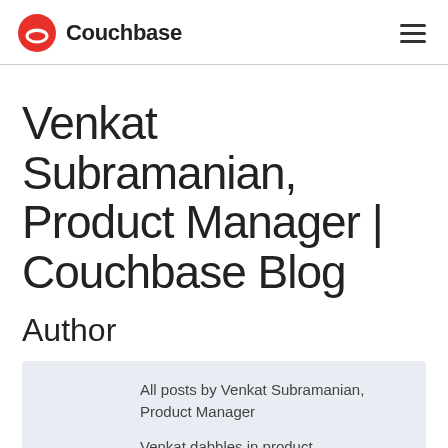Couchbase
Venkat Subramanian, Product Manager | Couchbase Blog
Author
All posts by Venkat Subramanian, Product Manager
Venkat dabbles in product development and product management and has been